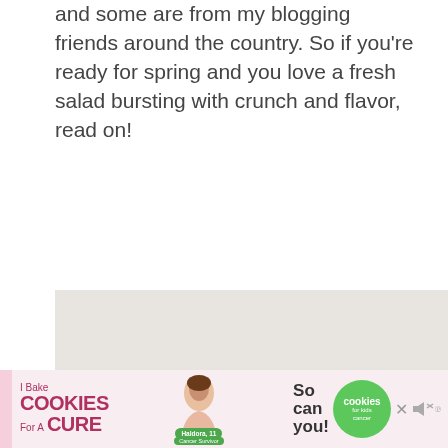and some are from my blogging friends around the country. So if you're ready for spring and you love a fresh salad bursting with crunch and flavor, read on!
[Figure (photo): Close-up photo of a colorful fresh salad with purple/red cabbage, green vegetables, red bell peppers, nuts and seeds in a glass bowl on a white background]
[Figure (infographic): Advertisement banner: 'I Bake COOKIES For A CURE' with a woman photo in center, tagline 'So can you!' and a green 'cookies for kids cancer' circle logo, with a close button X]